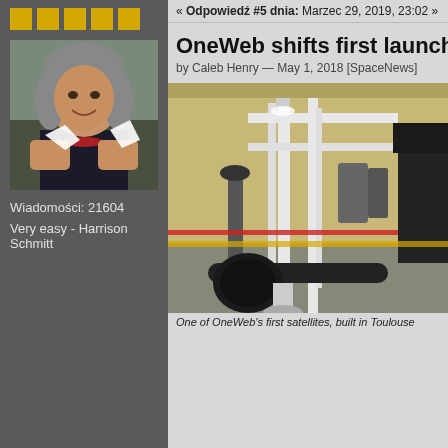[Figure (other): Five gold/yellow squares arranged horizontally as forum rank icons]
[Figure (photo): Profile photo of a woman with gray curly hair, smiling, holding white satellite model components]
Wiadomości: 21604
Very easy - Harrison Schmitt
« Odpowiedź #5 dnia: Marzec 29, 2019, 23:02 »
OneWeb shifts first launch to
by Caleb Henry — May 1, 2018 [SpaceNews]
[Figure (photo): Industrial facility photo showing OneWeb satellite testing equipment — white metal frames and camera equipment in a large warehouse floor with yellow and red tape markings]
One of OneWeb's first satellites, built in Toulouse